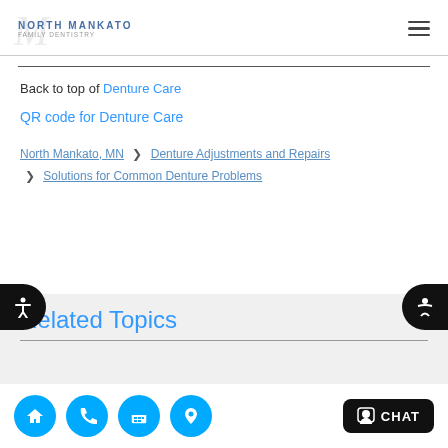North Mankato Family Dentistry
Back to top of Denture Care
QR code for Denture Care
North Mankato, MN > Denture Adjustments and Repairs > Solutions for Common Denture Problems
Related Topics